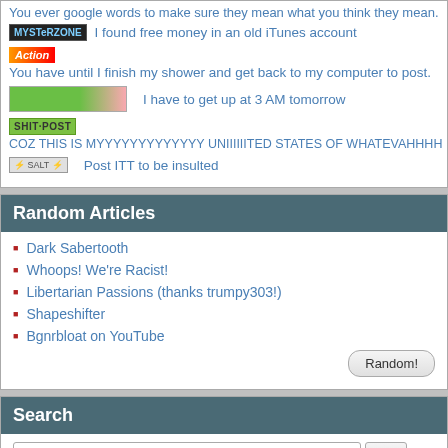You ever google words to make sure they mean what you think they mean.
I found free money in an old iTunes account
You have until I finish my shower and get back to my computer to post.
I have to get up at 3 AM tomorrow
COZ THIS IS MYYYYYYYYYYYYY UNIIIIIITED STATES OF WHATEVAHHHH
Post ITT to be insulted
Random Articles
Dark Sabertooth
Whoops! We're Racist!
Libertarian Passions (thanks trumpy303!)
Shapeshifter
Bgnrbloat on YouTube
Search
Search SA
Search Amazon